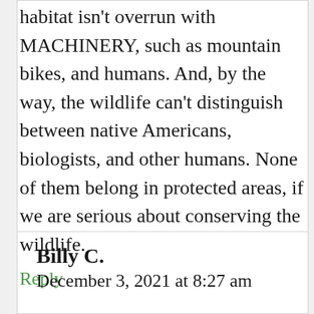habitat isn't overrun with MACHINERY, such as mountain bikes, and humans. And, by the way, the wildlife can't distinguish between native Americans, biologists, and other humans. None of them belong in protected areas, if we are serious about conserving the wildlife.
Reply
Billy C.
December 3, 2021 at 8:27 am